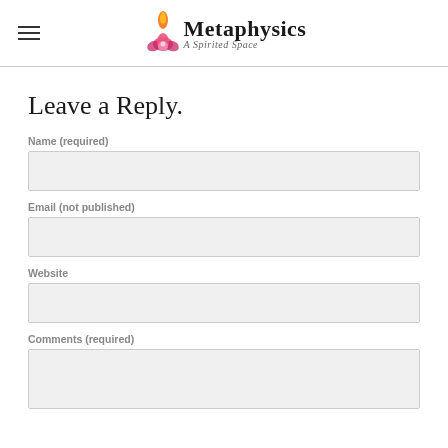Metaphysics – A Spirited Space
Leave a Reply.
Name (required)
Email (not published)
Website
Comments (required)